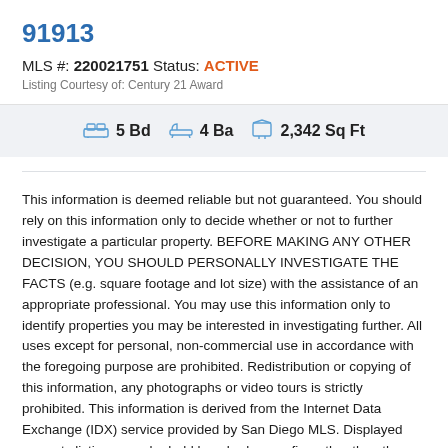91913
MLS #: 220021751 Status: ACTIVE
Listing Courtesy of: Century 21 Award
5 Bd  4 Ba  2,342 Sq Ft
This information is deemed reliable but not guaranteed. You should rely on this information only to decide whether or not to further investigate a particular property. BEFORE MAKING ANY OTHER DECISION, YOU SHOULD PERSONALLY INVESTIGATE THE FACTS (e.g. square footage and lot size) with the assistance of an appropriate professional. You may use this information only to identify properties you may be interested in investigating further. All uses except for personal, non-commercial use in accordance with the foregoing purpose are prohibited. Redistribution or copying of this information, any photographs or video tours is strictly prohibited. This information is derived from the Internet Data Exchange (IDX) service provided by San Diego MLS. Displayed property listings may be held by a brokerage firm other than the broker and/or agent responsible for this display. The information and any photographs and video tours and